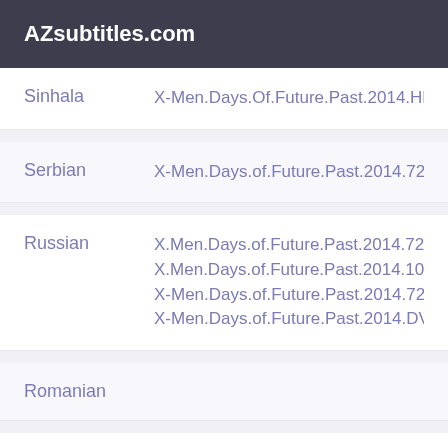AZsubtitles.com
| Language | File |
| --- | --- |
| Sinhala | X-Men.Days.Of.Future.Past.2014.HD-TS |
| Serbian | X-Men.Days.of.Future.Past.2014.720p.B |
| Russian | X.Men.Days.of.Future.Past.2014.720p.Bl
X.Men.Days.of.Future.Past.2014.1080p.E
X-Men.Days.of.Future.Past.2014.720p.B
X-Men.Days.of.Future.Past.2014.DVDRip |
| Romanian |  |
| Romanian | X.Men.Days.of.Future.Past.2014.1080p.3 |